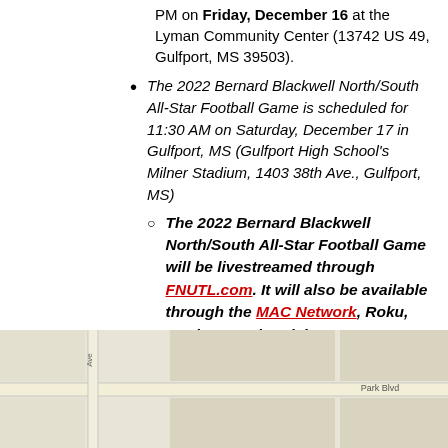PM on Friday, December 16 at the Lyman Community Center (13742 US 49, Gulfport, MS 39503).
The 2022 Bernard Blackwell North/South All-Star Football Game is scheduled for 11:30 AM on Saturday, December 17 in Gulfport, MS (Gulfport High School's Milner Stadium, 1403 38th Ave., Gulfport, MS)
The 2022 Bernard Blackwell North/South All-Star Football Game will be livestreamed through FNUTL.com. It will also be available through the MAC Network, Roku, AppleTV & Firestick.
[Figure (map): Google Maps screenshot showing the area around Scarborough Security Services near Park Blvd, Gulfport MS, with street labels including Park Blvd, Ave, Moulder Canyon, and Westward visible.]